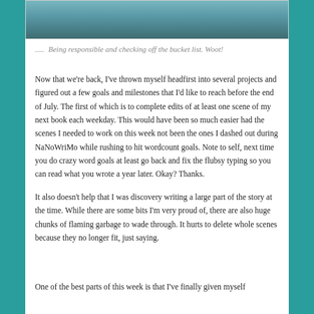[Figure (photo): Partial photo of people, appears to be cropped at the top of the page, showing hands and colorful clothing (teal/cyan outfit visible).]
— Being responsible and checking off the bucket list. Woot!
Now that we're back, I've thrown myself headfirst into several projects and figured out a few goals and milestones that I'd like to reach before the end of July. The first of which is to complete edits of at least one scene of my next book each weekday. This would have been so much easier had the scenes I needed to work on this week not been the ones I dashed out during NaNoWriMo while rushing to hit wordcount goals. Note to self, next time you do crazy word goals at least go back and fix the flubsy typing so you can read what you wrote a year later. Okay? Thanks.
It also doesn't help that I was discovery writing a large part of the story at the time. While there are some bits I'm very proud of, there are also huge chunks of flaming garbage to wade through. It hurts to delete whole scenes because they no longer fit, just saying.
One of the best parts of this week is that I've finally given myself